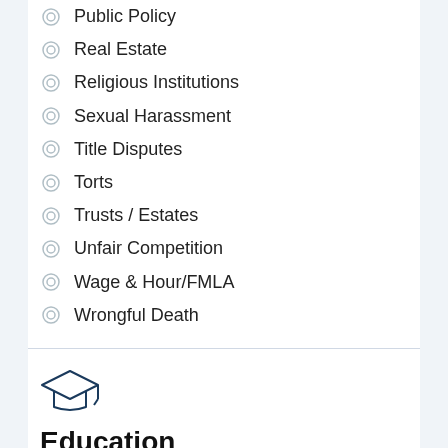Public Policy
Real Estate
Religious Institutions
Sexual Harassment
Title Disputes
Torts
Trusts / Estates
Unfair Competition
Wage & Hour/FMLA
Wrongful Death
Education
Loyola University Chicago School of Law, Juris Doctor, Law Review 1986
U.S. Department of Justice National Advocacy Center, 1995 – 2011
Center for International Legal Studies, Professor Orientation, Salzburg, Austria 2014
Straus Institute for Dispute Resolution